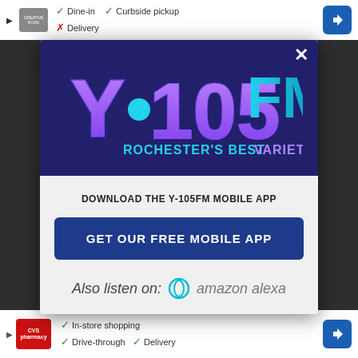[Figure (screenshot): Background webpage screenshot showing a blurred/darkened web page with Google Maps-style service indicators at top and bottom]
[Figure (logo): Y.105FM Rochester's Best Variety radio station logo on dark navy/purple background with close button]
DOWNLOAD THE Y-105FM MOBILE APP
GET OUR FREE MOBILE APP
Also listen on:  amazon alexa